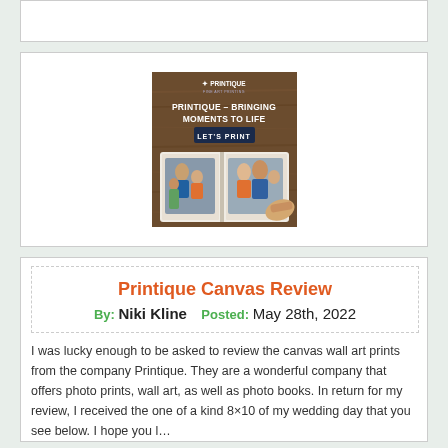[Figure (other): Empty white card at top of page]
[Figure (illustration): Printique advertisement banner showing a photo book with family photos and text 'PRINTIQUE - BRINGING MOMENTS TO LIFE' with a 'LET'S PRINT' button on a wooden background]
Printique Canvas Review
By: Niki Kline   Posted: May 28th, 2022
I was lucky enough to be asked to review the canvas wall art prints from the company Printique. They are a wonderful company that offers photo prints, wall art, as well as photo books. In return for my review, I received the one of a kind 8×10 of my wedding day that you see below. I hope you l…